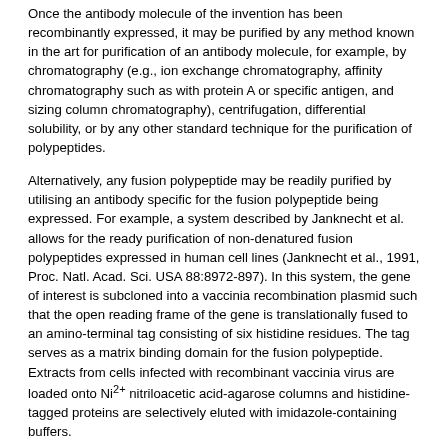Once the antibody molecule of the invention has been recombinantly expressed, it may be purified by any method known in the art for purification of an antibody molecule, for example, by chromatography (e.g., ion exchange chromatography, affinity chromatography such as with protein A or specific antigen, and sizing column chromatography), centrifugation, differential solubility, or by any other standard technique for the purification of polypeptides.
Alternatively, any fusion polypeptide may be readily purified by utilising an antibody specific for the fusion polypeptide being expressed. For example, a system described by Janknecht et al. allows for the ready purification of non-denatured fusion polypeptides expressed in human cell lines (Janknecht et al., 1991, Proc. Natl. Acad. Sci. USA 88:8972-897). In this system, the gene of interest is subcloned into a vaccinia recombination plasmid such that the open reading frame of the gene is translationally fused to an amino-terminal tag consisting of six histidine residues. The tag serves as a matrix binding domain for the fusion polypeptide. Extracts from cells infected with recombinant vaccinia virus are loaded onto Ni2+ nitriloacetic acid-agarose columns and histidine-tagged proteins are selectively eluted with imidazole-containing buffers.
In a preferred embodiment, antibodies of the invention or fragments thereof are conjugated to a diagnostic or therapeutic moiety. The antibodies can be used for diagnosis or to determine the efficacy of a given treatment